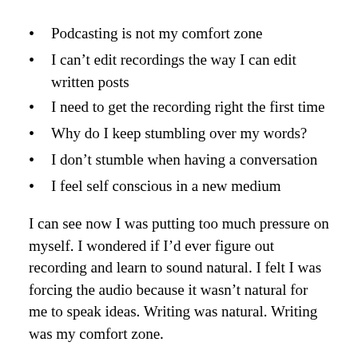Podcasting is not my comfort zone
I can't edit recordings the way I can edit written posts
I need to get the recording right the first time
Why do I keep stumbling over my words?
I don't stumble when having a conversation
I feel self conscious in a new medium
I can see now I was putting too much pressure on myself. I wondered if I'd ever figure out recording and learn to sound natural. I felt I was forcing the audio because it wasn't natural for me to speak ideas. Writing was natural. Writing was my comfort zone.
Knowing how hard it was for me to start, gave me a greater appreciation for all those who make